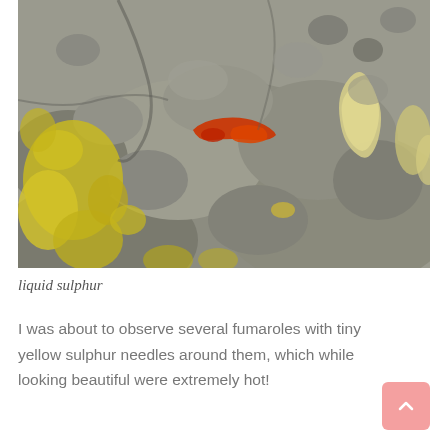[Figure (photo): A close-up photograph of volcanic rock surface showing grey rocks with yellow-green lichen or sulphur deposits, yellow-cream coloured sulphur formations on the right side, and a small red/orange object (possibly liquid sulphur flow) in the upper-middle area of the image.]
liquid sulphur
I was about to observe several fumaroles with tiny yellow sulphur needles around them, which while looking beautiful were extremely hot!